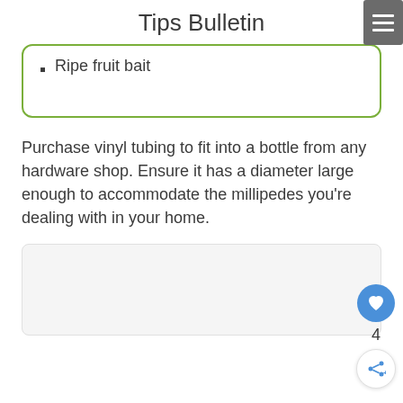Tips Bulletin
Ripe fruit bait
Purchase vinyl tubing to fit into a bottle from any hardware shop. Ensure it has a diameter large enough to accommodate the millipedes you're dealing with in your home.
[Figure (other): Light gray rectangular placeholder image area with rounded border]